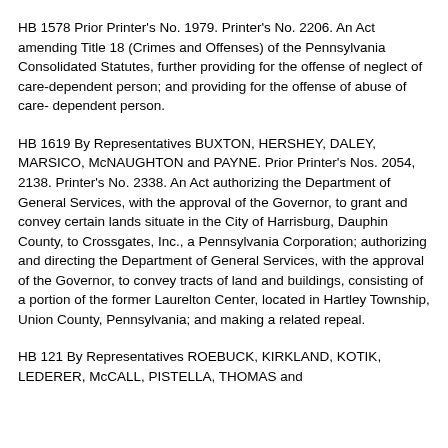HB 1578 Prior Printer's No. 1979. Printer's No. 2206. An Act amending Title 18 (Crimes and Offenses) of the Pennsylvania Consolidated Statutes, further providing for the offense of neglect of care-dependent person; and providing for the offense of abuse of care- dependent person.
HB 1619 By Representatives BUXTON, HERSHEY, DALEY, MARSICO, McNAUGHTON and PAYNE. Prior Printer's Nos. 2054, 2138. Printer's No. 2338. An Act authorizing the Department of General Services, with the approval of the Governor, to grant and convey certain lands situate in the City of Harrisburg, Dauphin County, to Crossgates, Inc., a Pennsylvania Corporation; authorizing and directing the Department of General Services, with the approval of the Governor, to convey tracts of land and buildings, consisting of a portion of the former Laurelton Center, located in Hartley Township, Union County, Pennsylvania; and making a related repeal.
HB 121 By Representatives ROEBUCK, KIRKLAND, KOTIK, LEDERER, McCALL, PISTELLA, THOMAS and